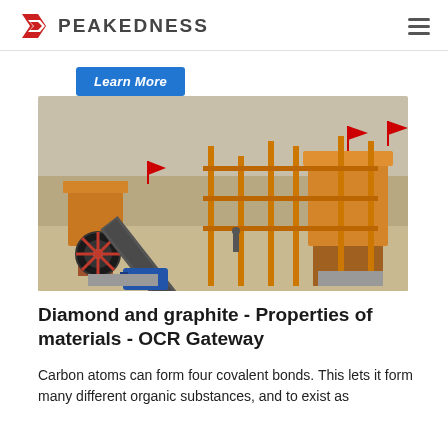PEAKEDNESS
[Figure (other): Learn More button (blue, italic)]
[Figure (photo): Industrial quarry/crushing plant with conveyor belts, orange machinery, scaffolding, and rocky terrain in background]
Diamond and graphite - Properties of materials - OCR Gateway
Carbon atoms can form four covalent bonds. This lets it form many different organic substances, and to exist as